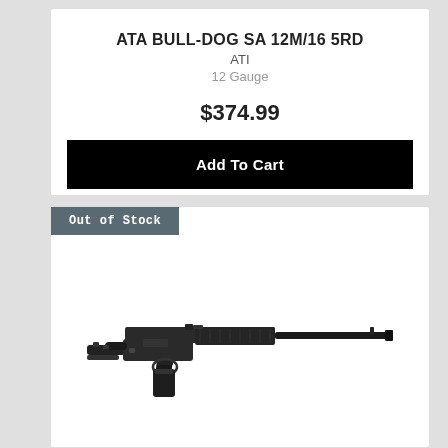ATA BULL-DOG SA 12M/16 5RD
ATI
12 Gauge
$374.99
Add To Cart
Out of Stock
[Figure (photo): Black AR-15 style semi-automatic rifle shown in profile view against white background]